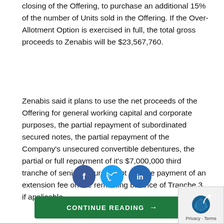closing of the Offering, to purchase an additional 15% of the number of Units sold in the Offering. If the Over-Allotment Option is exercised in full, the total gross proceeds to Zenabis will be $23,567,760.
Zenabis said it plans to use the net proceeds of the Offering for general working capital and corporate purposes, the partial repayment of subordinated secured notes, the partial repayment of the Company's unsecured convertible debentures, the partial or full repayment of it's $7,000,000 third tranche of senior secured debt and the payment of an extension fee on the remaining balance of Tranche 3, if applicable.
[Figure (other): Social media sharing icons: Facebook, Twitter, LinkedIn]
[Figure (other): Continue Reading button with arrow]